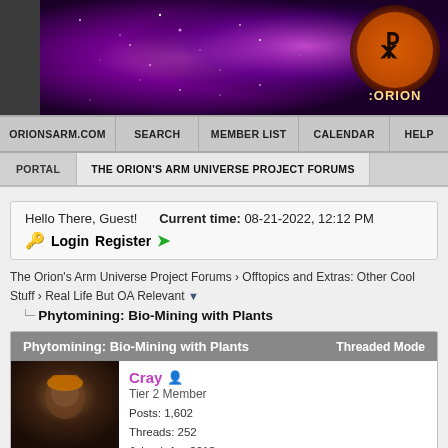[Figure (illustration): Orion's Arm website banner with purple/magenta space nebula background and orange Orion logo in top right corner with text ':ORION']
ORIONSARM.COM  SEARCH  MEMBER LIST  CALENDAR  HELP
PORTAL  THE ORION'S ARM UNIVERSE PROJECT FORUMS
Hello There, Guest!  Current time: 08-21-2022, 12:12 PM
🔑 Login  Register ➡
The Orion's Arm Universe Project Forums › Offtopics and Extras: Other Cool Stuff › Real Life But OA Relevant ▼
Phytomining: Bio-Mining with Plants
Phytomining: Bio-Mining with Plants  Threaded Mode
Cray  Tier 2 Member  Posts: 1,602  Threads: 252  Joined: Apr 2013